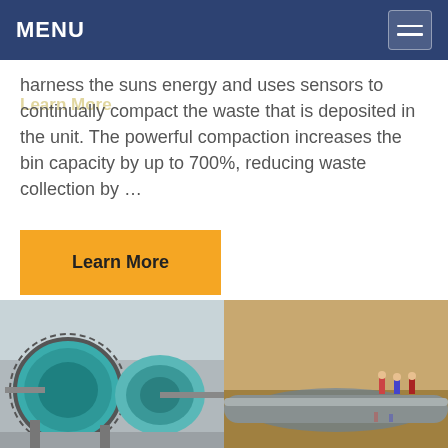MENU
harness the suns energy and uses sensors to continually compact the waste that is deposited in the unit. The powerful compaction increases the bin capacity by up to 700%, reducing waste collection by …
Learn More
[Figure (photo): Industrial ball mill machinery in a factory setting, blue/teal colored cylindrical drums with gear mechanisms]
[Figure (photo): Workers handling a large pipeline in an outdoor setting with water and sandy terrain]